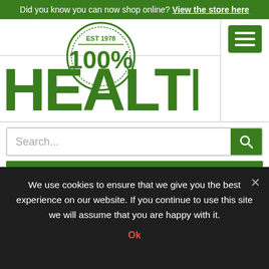Did you know you can now shop online? View the store here
[Figure (logo): 100% Health logo with circle, EST 1978 text, and large green HEALTH wordmark]
[Figure (other): Green hamburger menu button with three white horizontal lines]
Search...
We use cookies to ensure that we give you the best experience on our website. If you continue to use this site we will assume that you are happy with it.
Ok